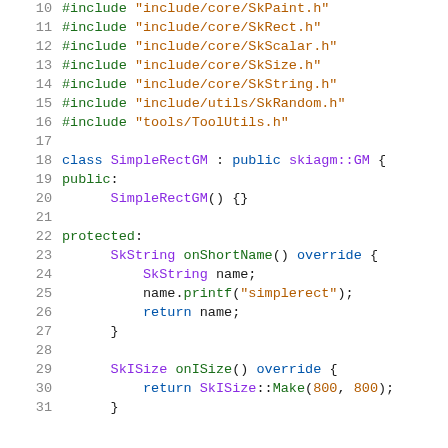Source code listing showing C++ code for SimpleRectGM class, lines 10-31
Lines 10-16: #include directives for SkPaint.h, SkRect.h, SkScalar.h, SkSize.h, SkString.h, SkRandom.h, ToolUtils.h. Line 18: class SimpleRectGM : public skiagm::GM {. Lines 19-20: public: SimpleRectGM() {}. Lines 22-27: protected: SkString onShortName() override { SkString name; name.printf("simplerect"); return name; }. Lines 29-31: SkISize onISize() override { return SkISize::Make(800, 800); }